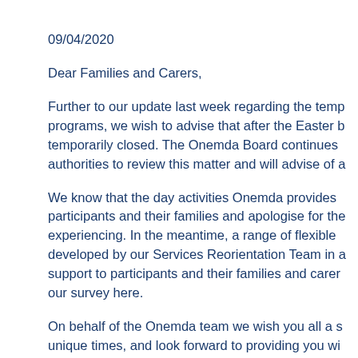09/04/2020
Dear Families and Carers,
Further to our update last week regarding the temp programs, we wish to advise that after the Easter b temporarily closed. The Onemda Board continues authorities to review this matter and will advise of a
We know that the day activities Onemda provides participants and their families and apologise for the experiencing. In the meantime, a range of flexible developed by our Services Reorientation Team in a support to participants and their families and carer our survey here.
On behalf of the Onemda team we wish you all a s unique times, and look forward to providing you wi the holiday period.